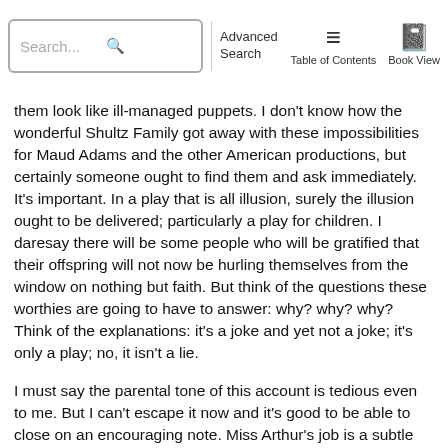Search... Advanced Search Table of Contents Book View
them look like ill-managed puppets. I don't know how the wonderful Shultz Family got away with these impossibilities for Maud Adams and the other American productions, but certainly someone ought to find them and ask immediately. It's important. In a play that is all illusion, surely the illusion ought to be delivered; particularly a play for children. I daresay there will be some people who will be gratified that their offspring will not now be hurling themselves from the window on nothing but faith. But think of the questions these worthies are going to have to answer: why? why? why? Think of the explanations: it's a joke and yet not a joke; it's only a play; no, it isn't a lie.
I must say the parental tone of this account is tedious even to me. But I can't escape it now and it's good to be able to close on an encouraging note. Miss Arthur's job is a subtle achievement. Her Peter is certainly a